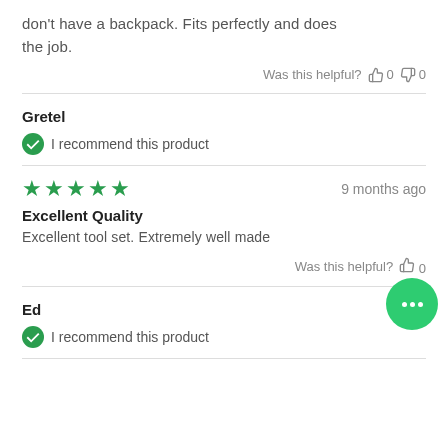don't have a backpack. Fits perfectly and does the job.
Was this helpful? 👍 0 👎 0
Gretel
I recommend this product
★★★★★  9 months ago
Excellent Quality
Excellent tool set. Extremely well made
Was this helpful? 👍 0
Ed
I recommend this product